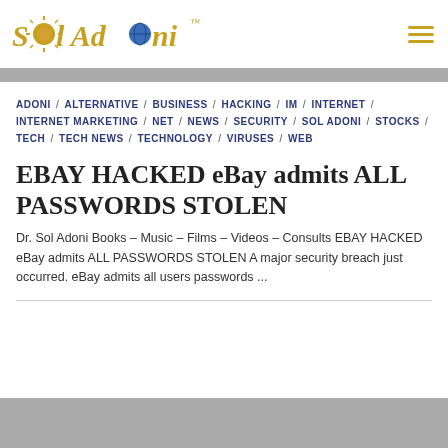Sol Adoni
ADONI / ALTERNATIVE / BUSINESS / HACKING / IM / INTERNET / INTERNET MARKETING / NET / NEWS / SECURITY / SOL ADONI / STOCKS / TECH / TECH NEWS / TECHNOLOGY / VIRUSES / WEB
EBAY HACKED eBay admits ALL PASSWORDS STOLEN
Dr. Sol Adoni Books – Music – Films – Videos – Consults EBAY HACKED eBay admits ALL PASSWORDS STOLEN A major security breach just occurred. eBay admits all users passwords ...